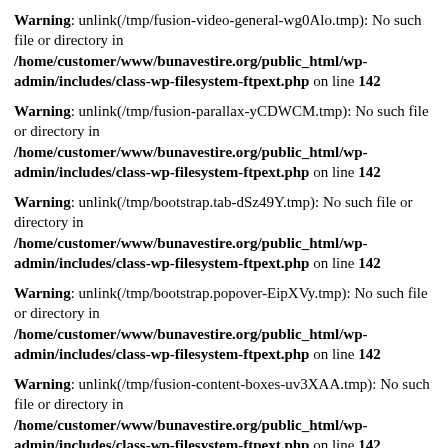Warning: unlink(/tmp/fusion-video-general-wg0Alo.tmp): No such file or directory in /home/customer/www/bunavestire.org/public_html/wp-admin/includes/class-wp-filesystem-ftpext.php on line 142
Warning: unlink(/tmp/fusion-parallax-yCDWCM.tmp): No such file or directory in /home/customer/www/bunavestire.org/public_html/wp-admin/includes/class-wp-filesystem-ftpext.php on line 142
Warning: unlink(/tmp/bootstrap.tab-dSz49Y.tmp): No such file or directory in /home/customer/www/bunavestire.org/public_html/wp-admin/includes/class-wp-filesystem-ftpext.php on line 142
Warning: unlink(/tmp/bootstrap.popover-EipXVy.tmp): No such file or directory in /home/customer/www/bunavestire.org/public_html/wp-admin/includes/class-wp-filesystem-ftpext.php on line 142
Warning: unlink(/tmp/fusion-content-boxes-uv3XAA.tmp): No such file or directory in /home/customer/www/bunavestire.org/public_html/wp-admin/includes/class-wp-filesystem-ftpext.php on line 142